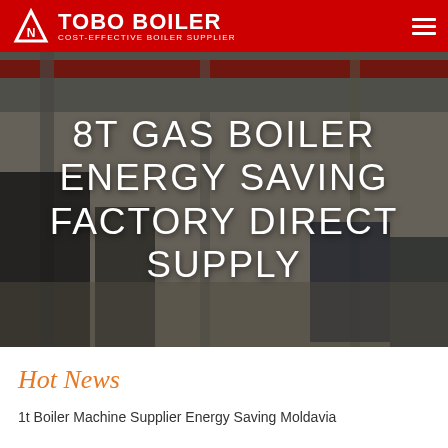TOBO BOILER COST-EFFECTIVE BOILER SUPPLIER
[Figure (photo): Industrial boiler factory interior with large equipment and overhead cranes, dark overlay with white text overlay reading '8T GAS BOILER ENERGY SAVING FACTORY DIRECT SUPPLY']
8T GAS BOILER ENERGY SAVING FACTORY DIRECT SUPPLY
Hot News
1t Boiler Machine Supplier Energy Saving Moldavia